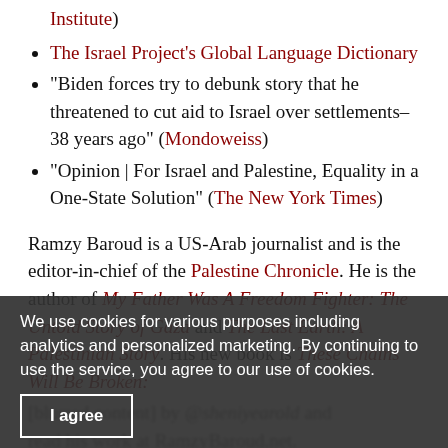Institute)
The Israel Project's Global Language Dictionary
“Biden forces try to debunk story that he threatened to cut aid to Israel over settlements– 38 years ago” (Mondoweiss)
“Opinion | For Israel and Palestine, Equality in a One-State Solution” (The New York Times)
Ramzy Baroud is a US-Arab journalist and is the editor-in-chief of the Palestine Chronicle. He is the author of My Father Was A Freedom Fighter: The Untold Story of Gaza and The Last Earth: A Palestinian Story. His new book is These Chains Will Be Broken:
[blurred text] read his work at RamzyBaroud.net.
This episode of the Scott Horton Show is sponsored by NoDayNoOps NotT by Hussein Bodakhchoni The
We use cookies for various purposes including analytics and personalized marketing. By continuing to use the service, you agree to our use of cookies.